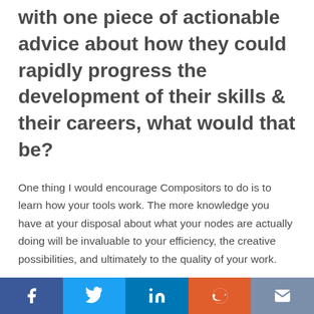with one piece of actionable advice about how they could rapidly progress the development of their skills & their careers, what would that be?
One thing I would encourage Compositors to do is to learn how your tools work. The more knowledge you have at your disposal about what your nodes are actually doing will be invaluable to your efficiency, the creative possibilities, and ultimately to the quality of your work.
Technical skill isn't the only thing that's important though,
Share buttons: Facebook, Twitter, LinkedIn, Reddit, Email